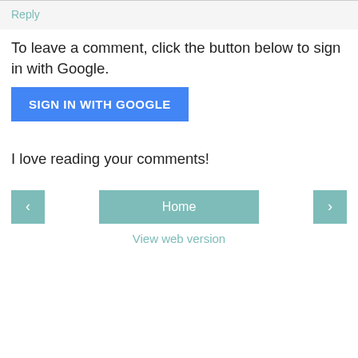Reply
To leave a comment, click the button below to sign in with Google.
[Figure (screenshot): Blue button labeled SIGN IN WITH GOOGLE]
I love reading your comments!
[Figure (screenshot): Navigation row with left arrow button, Home button, and right arrow button]
View web version